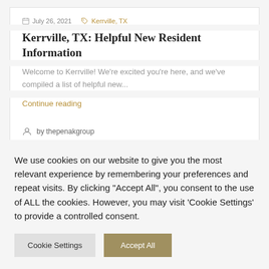July 26, 2021  Kerrville, TX
Kerrville, TX: Helpful New Resident Information
Welcome to Kerrville! We're excited you're here, and we've compiled a list of helpful new...
Continue reading
by thepenakgroup
We use cookies on our website to give you the most relevant experience by remembering your preferences and repeat visits. By clicking "Accept All", you consent to the use of ALL the cookies. However, you may visit 'Cookie Settings' to provide a controlled consent.
Cookie Settings  Accept All